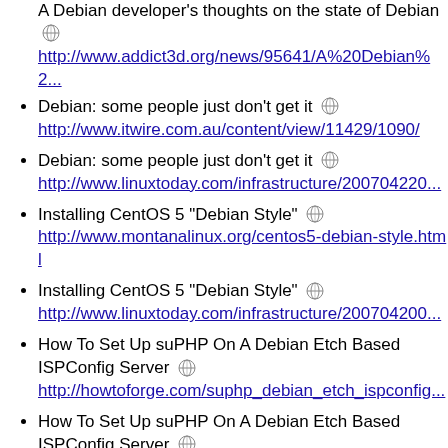A Debian developer's thoughts on the state of Debian [globe icon]
http://www.addict3d.org/news/95641/A%20Debian%2...
Debian: some people just don't get it [globe icon]
http://www.itwire.com.au/content/view/11429/1090/
Debian: some people just don't get it [globe icon]
http://www.linuxtoday.com/infrastructure/20070422200...
Installing CentOS 5 "Debian Style" [globe icon]
http://www.montanalinux.org/centos5-debian-style.html
Installing CentOS 5 "Debian Style" [globe icon]
http://www.linuxtoday.com/infrastructure/20070420000...
How To Set Up suPHP On A Debian Etch Based ISPConfig Server [globe icon]
http://howtoforge.com/suphp_debian_etch_ispconfig...
How To Set Up suPHP On A Debian Etch Based ISPConfig Server [globe icon]
http://www.linuxtoday.com/infrastructure/20070424010...